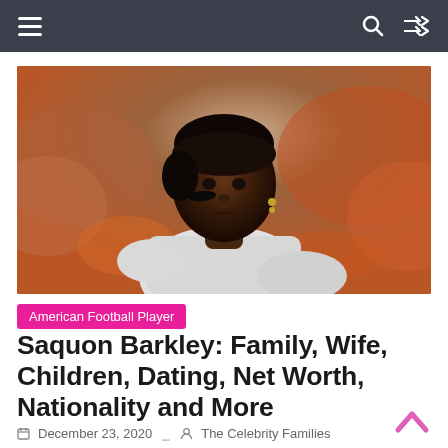Navigation bar with hamburger menu, search, and shuffle icons
[Figure (photo): Photo of Saquon Barkley, American football player, wearing a white jersey, with eye black under his eye, looking over his shoulder, with a blurred crowd background.]
American Football Player
Saquon Barkley: Family, Wife, Children, Dating, Net Worth, Nationality and More
December 23, 2020   The Celebrity Families